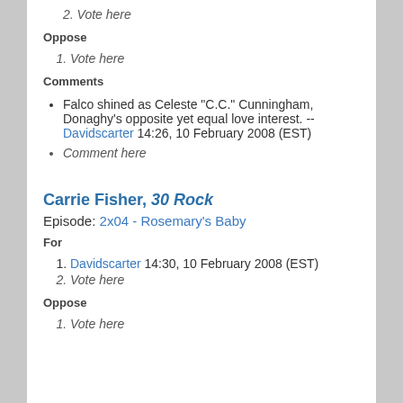2. Vote here
Oppose
1. Vote here
Comments
Falco shined as Celeste "C.C." Cunningham, Donaghy's opposite yet equal love interest. --Davidscarter 14:26, 10 February 2008 (EST)
Comment here
Carrie Fisher, 30 Rock
Episode: 2x04 - Rosemary's Baby
For
1. Davidscarter 14:30, 10 February 2008 (EST)
2. Vote here
Oppose
1. Vote here